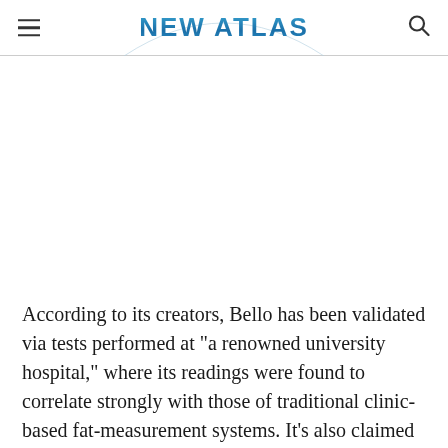NEW ATLAS
According to its creators, Bello has been validated via tests performed at "a renowned university hospital," where its readings were found to correlate strongly with those of traditional clinic-based fat-measurement systems. It's also claimed to be